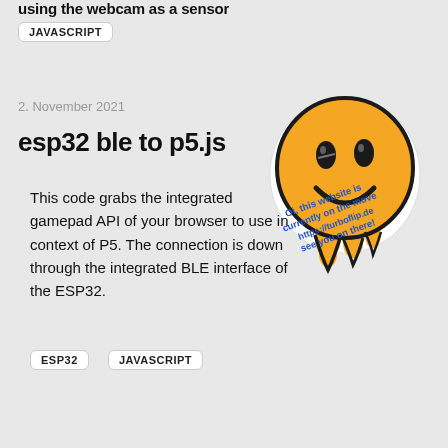using the webcam as a sensor
JAVASCRIPT
2. November 2021
esp32 ble to p5.js
[Figure (illustration): Melting yellow smiley face sticker with dripping effect, overlaid with rotated text: 'Oi, this website is currently on the move https://turboflip.de see you on there!']
This code grabs the integrated gamepad API of your browser to use in context of P5. The connection is down through the integrated BLE interface of the ESP32.
ESP32
JAVASCRIPT